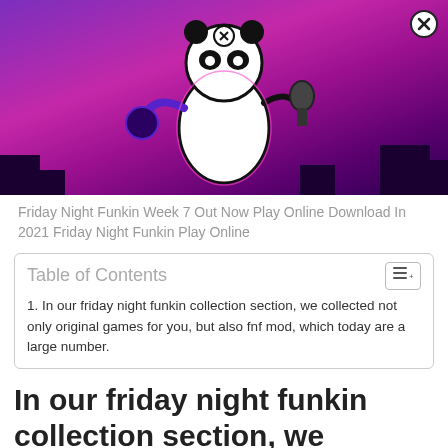[Figure (illustration): Friday Night Funkin Week 7 game screenshot showing a panda-like character holding a microphone on a purple/pink background with dark city silhouettes. A close button (X) is shown in the upper right of the image.]
Friday Night Funkin Week 7 Out Now Play Online Download In 2021 Friday Night Funkin Play Online
| Table of Contents |
| --- |
| 1. In our friday night funkin collection section, we collected not only original games for you, but also fnf mod, which today are a large number. |
In our friday night funkin collection section, we collected not only original games for you, but also fnf mod, which today are